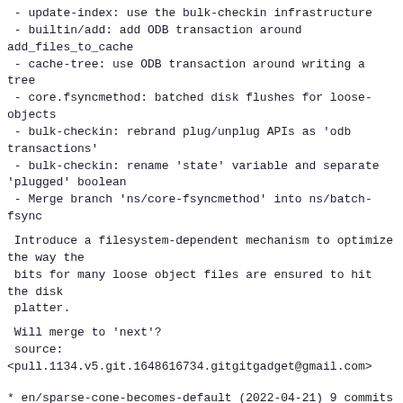- update-index: use the bulk-checkin infrastructure
- builtin/add: add ODB transaction around add_files_to_cache
- cache-tree: use ODB transaction around writing a tree
- core.fsyncmethod: batched disk flushes for loose-objects
- bulk-checkin: rebrand plug/unplug APIs as 'odb transactions'
- bulk-checkin: rename 'state' variable and separate 'plugged' boolean
- Merge branch 'ns/core-fsyncmethod' into ns/batch-fsync
Introduce a filesystem-dependent mechanism to optimize the way the
 bits for many loose object files are ensured to hit the disk
 platter.
Will merge to 'next'?
 source:
<pull.1134.v5.git.1648616734.gitgitgadget@gmail.com>
* en/sparse-cone-becomes-default (2022-04-21) 9 commits
- Documentation: some sparsity wording clarifications
- git-sparse-checkout.txt: mark non-cone mode as deprecated
- git-sparse-checkout.txt: flesh out pattern set